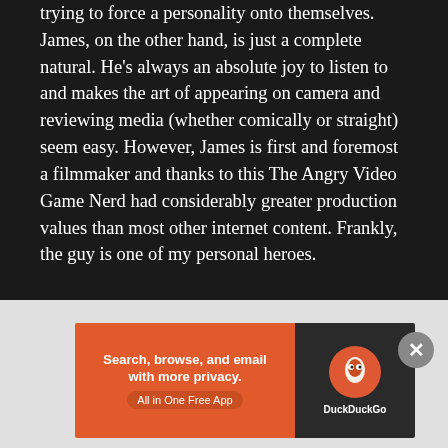trying to force a personality onto themselves. James, on the other hand, is just a complete natural. He's always an absolute joy to listen to and makes the art of appearing on camera and reviewing media (whether comically or straight) seem easy. However, James is first and foremost a filmmaker and thanks to this The Angry Video Game Nerd had considerably greater production values than most other internet content. Frankly, the guy is one of my personal heroes.
I still continue to enjoy new episodes of The Angry Video Game Nerd. I'm glad James can now...
[Figure (other): DuckDuckGo advertisement banner: orange left panel with text 'Search, browse, and email with more privacy. All in One Free App', dark right panel with DuckDuckGo duck logo and brand name.]